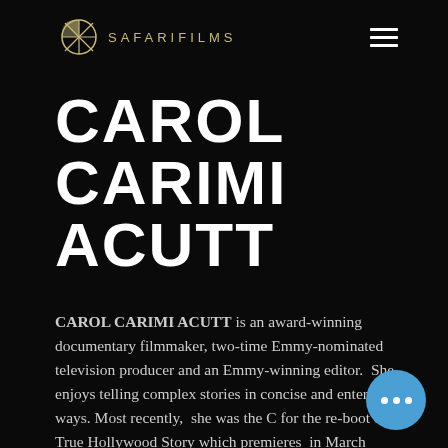SAFARIFILMS
CAROL CARIMI ACUTT
CAROL CARIMI ACUTT is an award-winning documentary filmmaker, two-time Emmy-nominated television producer and an Emmy-winning editor. She enjoys telling complex stories in concise and entertaining ways. Most recently, she was the C for the re-boot of E! True Hollywood Story which premieres in March